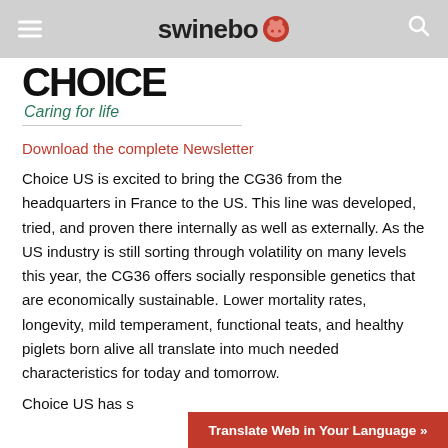swineweb
[Figure (logo): Partial logo with large bold text and italic tagline 'Caring for life' in green, with a horizontal rule below]
Download the complete Newsletter
Choice US is excited to bring the CG36 from the headquarters in France to the US. This line was developed, tried, and proven there internally as well as externally. As the US industry is still sorting through volatility on many levels this year, the CG36 offers socially responsible genetics that are economically sustainable. Lower mortality rates, longevity, mild temperament, functional teats, and healthy piglets born alive all translate into much needed characteristics for today and tomorrow.
Choice US has s
Translate Web in Your Language »